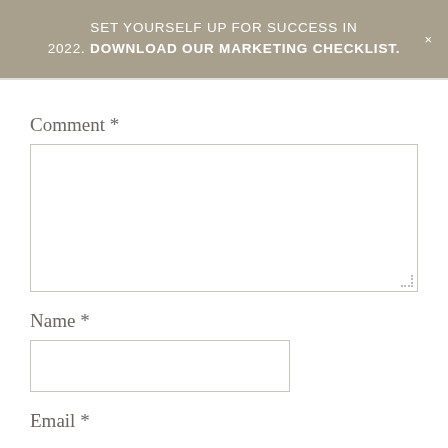SET YOURSELF UP FOR SUCCESS IN 2022. DOWNLOAD OUR MARKETING CHECKLIST.
Comment *
Name *
Email *